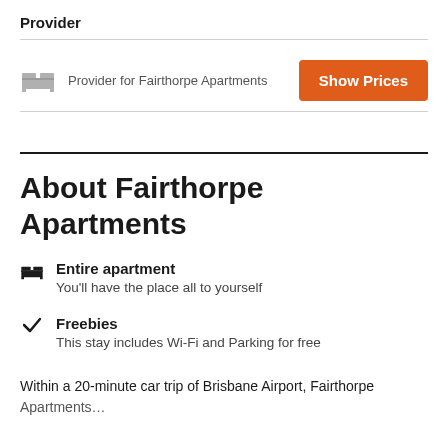Provider
Provider for Fairthorpe Apartments
About Fairthorpe Apartments
Entire apartment
You'll have the place all to yourself
Freebies
This stay includes Wi-Fi and Parking for free
Within a 20-minute car trip of Brisbane Airport, Fairthorpe Apartments...